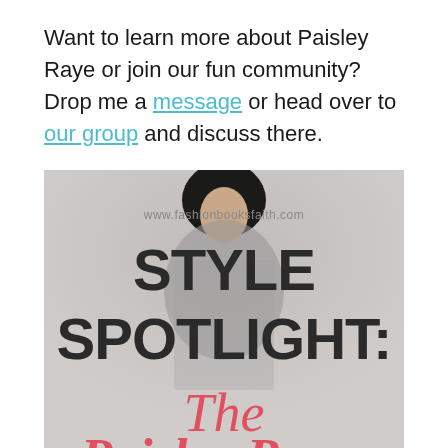Want to learn more about Paisley Raye or join our fun community? Drop me a message or head over to our group and discuss there.
[Figure (photo): Blog graphic with a woman in a sparkly outfit overlaid with text: www.fashionbooksfaith.com, STYLE SPOTLIGHT: The Paisley Raye (text partially cropped)]